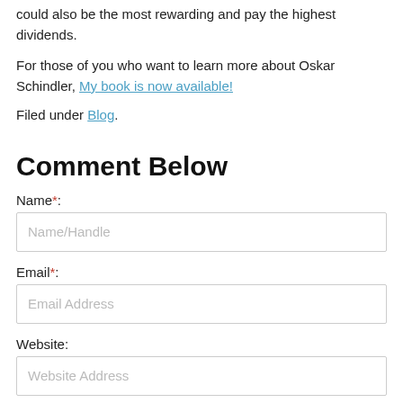could also be the most rewarding and pay the highest dividends.
For those of you who want to learn more about Oskar Schindler, My book is now available!
Filed under Blog.
Comment Below
Name*:
Name/Handle
Email*:
Email Address
Website:
Website Address